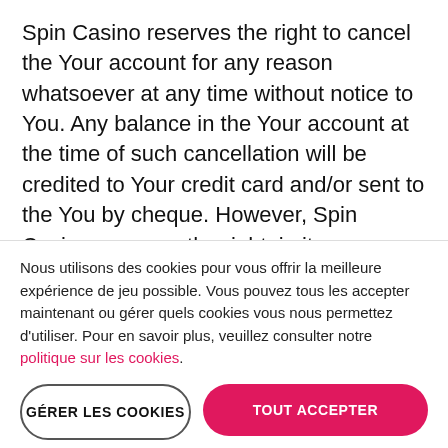Spin Casino reserves the right to cancel the Your account for any reason whatsoever at any time without notice to You. Any balance in the Your account at the time of such cancellation will be credited to Your credit card and/or sent to the You by cheque. However, Spin Casino reserves the right, in its unfettered discretion, to void any winnings and confiscate any balance in an account in any of the following circumstances:
i. If You have more than one active account;
Nous utilisons des cookies pour vous offrir la meilleure expérience de jeu possible. Vous pouvez tous les accepter maintenant ou gérer quels cookies vous nous permettez d'utiliser. Pour en savoir plus, veuillez consulter notre politique sur les cookies.